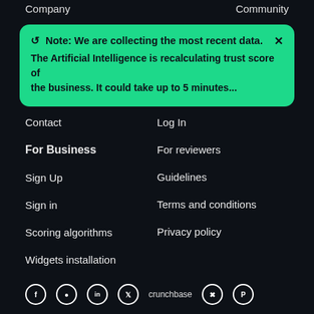Company   Community
Note: We are collecting the most recent data. The Artificial Intelligence is recalculating trust score of the business. It could take up to 5 minutes...
Contact
Log In
For Business
For reviewers
Sign Up
Guidelines
Sign in
Terms and conditions
Scoring algorithms
Privacy policy
Widgets installation
f  instagram  in  twitter  crunchbase  x  p